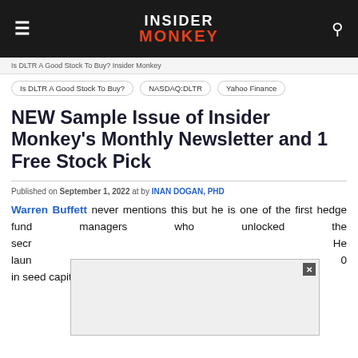INSIDER MONKEY
Is DLTR A Good Stock To Buy?  NASDAQ:DLTR  Yahoo Finance
NEW Sample Issue of Insider Monkey's Monthly Newsletter and 1 Free Stock Pick
Published on September 1, 2022 at by INAN DOGAN, PHD
Warren Buffett never mentions this but he is one of the first hedge fund managers who unlocked the secr[...] He laun[...] 0 in seed capital. Back then they weren't called hedge